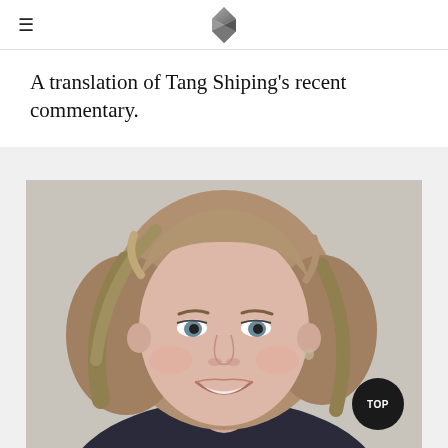≡ [logo]
A translation of Tang Shiping's recent commentary.
[Figure (photo): Portrait photo of a smiling woman with shoulder-length blonde/light brown hair, light eyes, wearing a dark top, against a light grey background.]
TOP